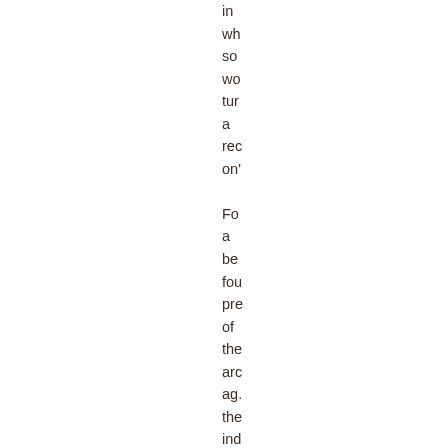in wh so wo tur a rec on' Fo a be fou pre of the arc ag. the ind on ma tur to Be Wi edi in- chi of the La we site an